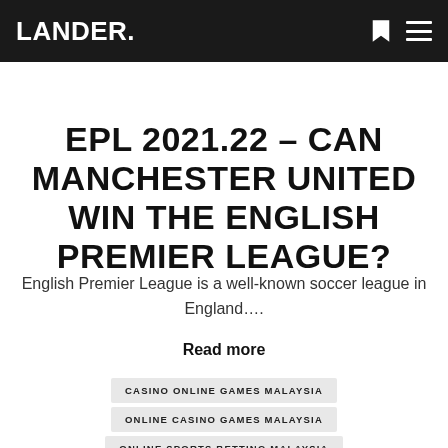LANDER.
EPL 2021.22 – CAN MANCHESTER UNITED WIN THE ENGLISH PREMIER LEAGUE?
English Premier League is a well-known soccer league in England….
Read more
CASINO ONLINE GAMES MALAYSIA
ONLINE CASINO GAMES MALAYSIA
ONLINE SPORTS BETTING MALAYSIA
SPORTS BETTING MALAYSIA
SPORTSBOOK MALAYSIA